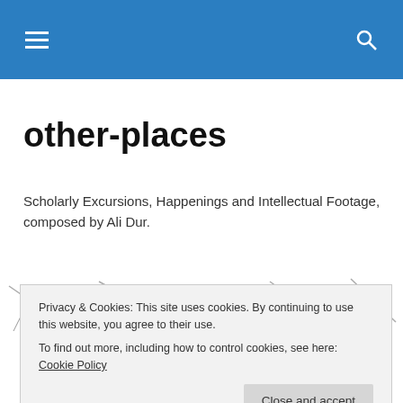[Navigation bar with menu and search icons]
other-places
Scholarly Excursions, Happenings and Intellectual Footage, composed by Ali Dur.
Privacy & Cookies: This site uses cookies. By continuing to use this website, you agree to their use.
To find out more, including how to control cookies, see here: Cookie Policy
MIMAROLUYORUM